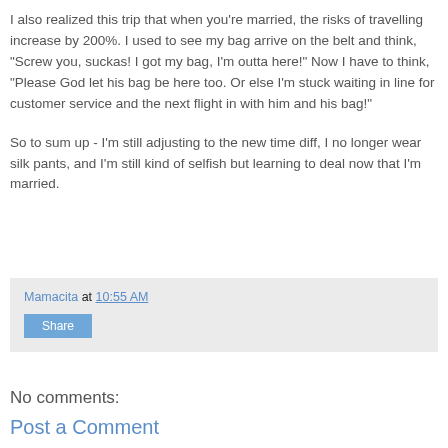I also realized this trip that when you're married, the risks of travelling increase by 200%. I used to see my bag arrive on the belt and think, "Screw you, suckas! I got my bag, I'm outta here!" Now I have to think, "Please God let his bag be here too. Or else I'm stuck waiting in line for customer service and the next flight in with him and his bag!"
So to sum up - I'm still adjusting to the new time diff, I no longer wear silk pants, and I'm still kind of selfish but learning to deal now that I'm married.
Mamacita at 10:55 AM
Share
No comments:
Post a Comment